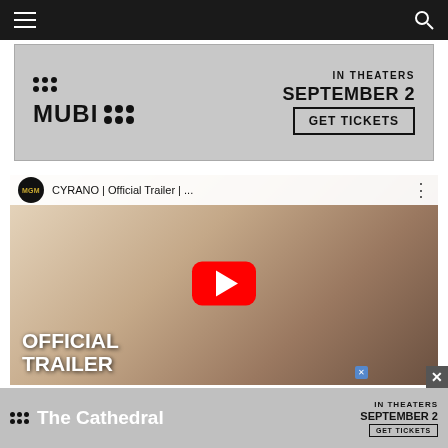Navigation bar with hamburger menu and search icon
[Figure (screenshot): MUBI advertisement banner: IN THEATERS SEPTEMBER 2, GET TICKETS button, MUBI logo with dot grid]
[Figure (screenshot): YouTube video thumbnail for CYRANO Official Trailer by MGM, showing two figures in period costume with OFFICIAL TRAILER text overlay and red YouTube play button]
Wright is very good at this part of thing. A decade ago, he made a grand ex...a. His self-awa...ays like
[Figure (screenshot): MUBI advertisement overlay banner: The Cathedral, IN THEATERS SEPTEMBER 2, GET TICKETS button with close X button]